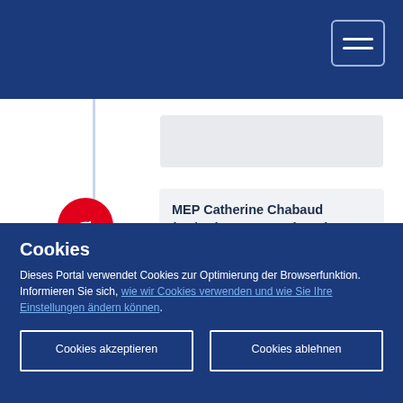MEP Catherine Chabaud (FR/RE) commented on the Opinion during the CoR Plenary
The rapporteur of the EP report on marine litter shared her positive comments on the CoR
Cookies
Dieses Portal verwendet Cookies zur Optimierung der Browserfunktion. Informieren Sie sich, wie wir Cookies verwenden und wie Sie Ihre Einstellungen ändern können.
Cookies akzeptieren
Cookies ablehnen